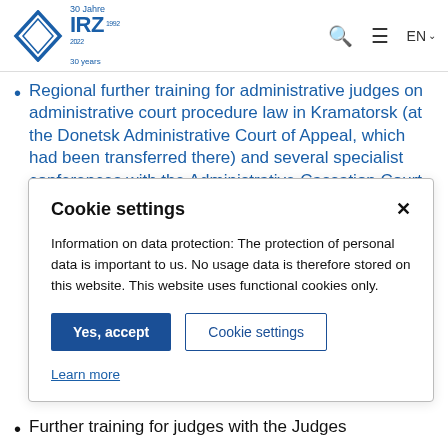IRZ 30 Jahre 1992–2022 30 years | EN
Regional further training for administrative judges on administrative court procedure law in Kramatorsk (at the Donetsk Administrative Court of Appeal, which had been transferred there) and several specialist conferences with the Administrative Cassation Court at the Supreme Court in Kiev
Cookie settings

Information on data protection: The protection of personal data is important to us. No usage data is therefore stored on this website. This website uses functional cookies only.

Yes, accept | Cookie settings

Learn more
Further training for judges with the Judges